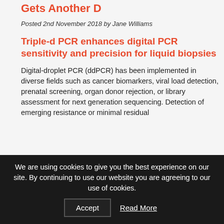Gets Another D
Posted 2nd November 2018 by Jane Williams
Triple-d PCR enhances digital PCR sensitivity and precision for liquid biopsies
Digital-droplet PCR (ddPCR) has been implemented in diverse fields such as cancer biomarkers, viral load detection, prenatal screening, organ donor rejection, or library assessment for next generation sequencing. Detection of emerging resistance or minimal residual
We are using cookies to give you the best experience on our site. By continuing to use our website you are agreeing to our use of cookies.